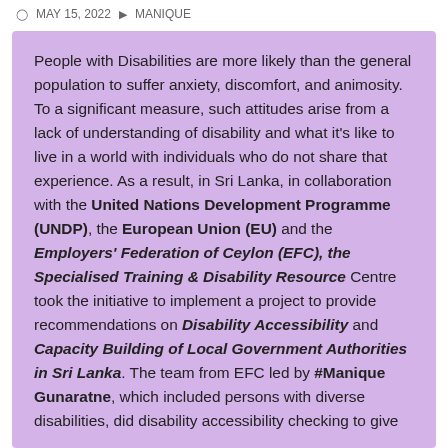MAY 15, 2022   MANIQUE
People with Disabilities are more likely than the general population to suffer anxiety, discomfort, and animosity. To a significant measure, such attitudes arise from a lack of understanding of disability and what it's like to live in a world with individuals who do not share that experience. As a result, in Sri Lanka, in collaboration with the United Nations Development Programme (UNDP), the European Union (EU) and the Employers' Federation of Ceylon (EFC), the Specialised Training & Disability Resource Centre took the initiative to implement a project to provide recommendations on Disability Accessibility and Capacity Building of Local Government Authorities in Sri Lanka. The team from EFC led by #Manique Gunaratne, which included persons with diverse disabilities, did disability accessibility checking to give